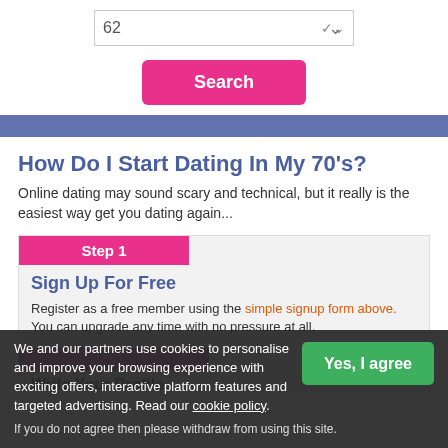[Figure (screenshot): Dropdown select box showing value '62' with a chevron arrow on the right, on a white background]
[Figure (screenshot): Pink 'Search' button centered on page]
[Figure (screenshot): Blue/indigo horizontal divider bar]
How Do I Start Dating In My 70's?
Online dating may sound scary and technical, but it really is the easiest way get you dating again...
Step 1
Sign Up For Free
Register as a free member using the simple signup form above. You can upgrade any time with no pressure at all.
Write Your Profile
We and our partners use cookies to personalise and improve your browsing experience with exciting offers, interactive platform features and targeted advertising. Read our cookie policy.
If you do not agree then please withdraw from using this site.